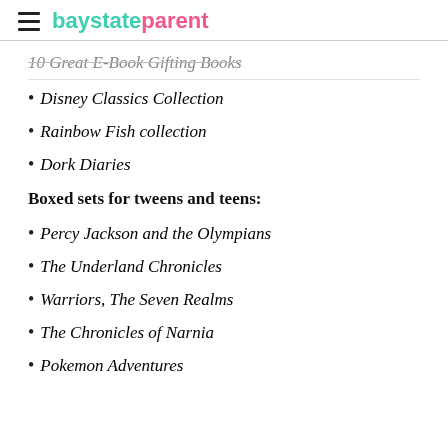baystateparent
10 Great E-book Gifting Books (clipped/partial)
Disney Classics Collection
Rainbow Fish collection
Dork Diaries
Boxed sets for tweens and teens:
Percy Jackson and the Olympians
The Underland Chronicles
Warriors, The Seven Realms
The Chronicles of Narnia
Pokemon Adventures